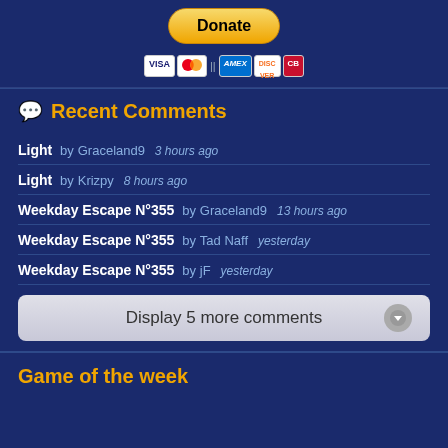[Figure (screenshot): Donate button with PayPal styling and credit card icons below it (Visa, Mastercard, Amex, Discover, etc.)]
Recent Comments
Light   by Graceland9   3 hours ago
Light   by Krizpy   8 hours ago
Weekday Escape N°355   by Graceland9   13 hours ago
Weekday Escape N°355   by Tad Naff   yesterday
Weekday Escape N°355   by jF   yesterday
Display 5 more comments
Game of the week